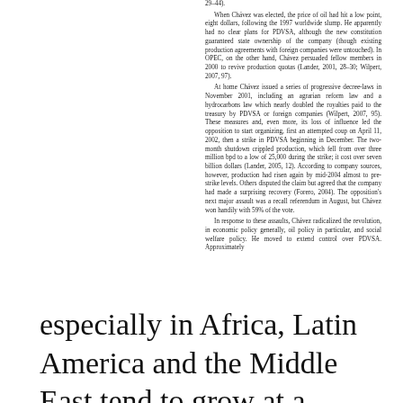29–44). When Chávez was elected, the price of oil had hit a low point, eight dollars, following the 1997 worldwide slump. He apparently had no clear plans for PDVSA, although the new constitution guaranteed state ownership of the company (though existing production agreements with foreign companies were untouched). In OPEC, on the other hand, Chávez persuaded fellow members in 2000 to revive production quotas (Lander, 2001, 28–30; Wilpert, 2007, 97). At home Chávez issued a series of progressive decree-laws in November 2001, including an agrarian reform law and a hydrocarbons law which nearly doubled the royalties paid to the treasury by PDVSA or foreign companies (Wilpert, 2007, 95). These measures and, even more, its loss of influence led the opposition to start organizing, first an attempted coup on April 11, 2002, then a strike in PDVSA beginning in December. The two-month shutdown crippled production, which fell from over three million bpd to a low of 25,000 during the strike; it cost over seven billion dollars (Lander, 2005, 12). According to company sources, however, production had risen again by mid-2004 almost to pre-strike levels. Others disputed the claim but agreed that the company had made a surprising recovery (Forero, 2004). The opposition's next major assault was a recall referendum in August, but Chávez won handily with 59% of the vote. In response to these assaults, Chávez radicalized the revolution, in economic policy generally, oil policy in particular, and social welfare policy. He moved to extend control over PDVSA. Approximately
especially in Africa, Latin America and the Middle East tend to grow at a slower rate than countries with fewer natural resources. These the resource curse thesis tends